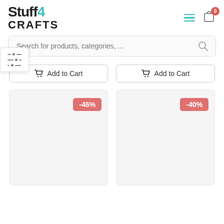[Figure (logo): Stuff4Crafts logo with teal accent on '4']
[Figure (screenshot): Search bar with placeholder text 'Search for products, categories, ...' and search icon]
[Figure (screenshot): Filter/sliders button popup]
Add to Cart
Add to Cart
[Figure (screenshot): Product card with -46% discount badge]
[Figure (screenshot): Product card with -40% discount badge]